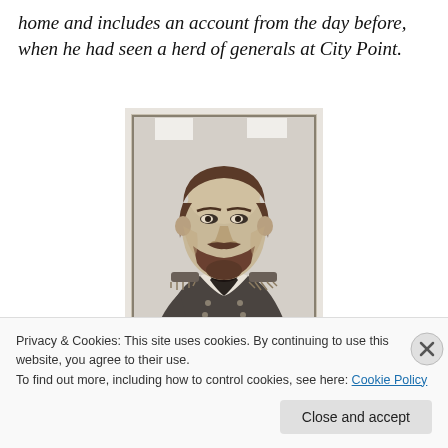home and includes an account from the day before, when he had seen a herd of generals at City Point.
[Figure (photo): Black and white portrait photograph of a Civil War era Union general in military uniform with epaulettes, beard, stern expression, seated pose.]
Privacy & Cookies: This site uses cookies. By continuing to use this website, you agree to their use.
To find out more, including how to control cookies, see here: Cookie Policy
Close and accept